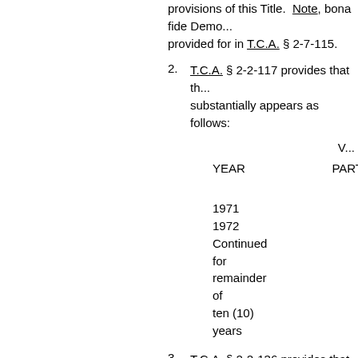provisions of this Title.  Note, bona fide Demo... provided for in T.C.A. § 2-7-115.
2.  T.C.A. § 2-2-117 provides that th... substantially appears as follows:
| YEAR | PARTY |
| --- | --- |
| 1971 |  |
| 1972 |  |
| Continued for remainder of ten (10) years |  |
3.  T.C.A. § 2-2-136 provides that th... provide the county election commissions with... Commissions shall be the custodians of the f...
4.  T.C.A. § 2-7-107 provides the ob... of the election the duplicate permanent regis... keys, ballot boxes and keys, and all other su... added).  Note, voting history records are nec...